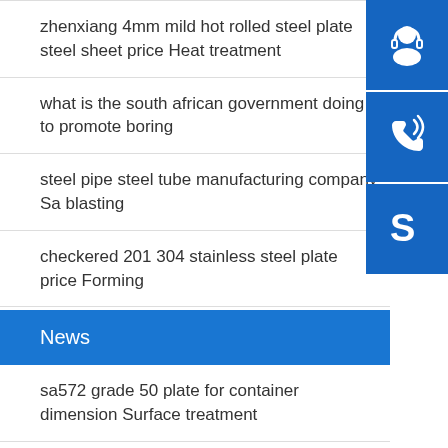zhenxiang 4mm mild hot rolled steel plate steel sheet price Heat treatment
what is the south african government doing to promote boring
steel pipe steel tube manufacturing company Sa blasting
checkered 201 304 stainless steel plate price Forming
[Figure (illustration): Three blue icon buttons on the right sidebar: headset/customer service icon, phone with signal waves icon, and Skype logo icon]
News
sa572 grade 50 plate for container dimension Surface treatment